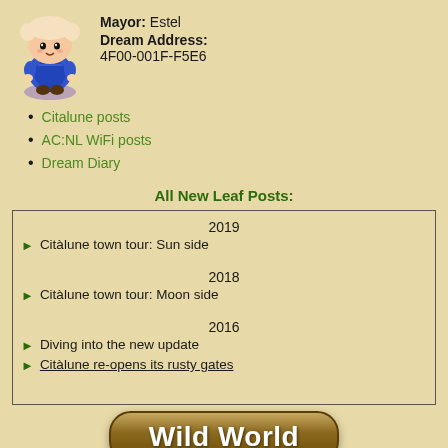[Figure (illustration): Animal Crossing character in blue dress standing on a purple shadow, pixel art style]
Mayor: Estel
Dream Address: 4F00-001F-F5E6
Citalune posts
AC:NL WiFi posts
Dream Diary
All New Leaf Posts:
| 2019 |
| ► Citàlune town tour: Sun side |
| 2018 |
| ► Citàlune town tour: Moon side |
| 2016 |
| ► Diving into the new update |
| ► Citàlune re-opens its rusty gates |
[Figure (illustration): Wild World button with rounded rectangle brown/tan gradient and white bold text]